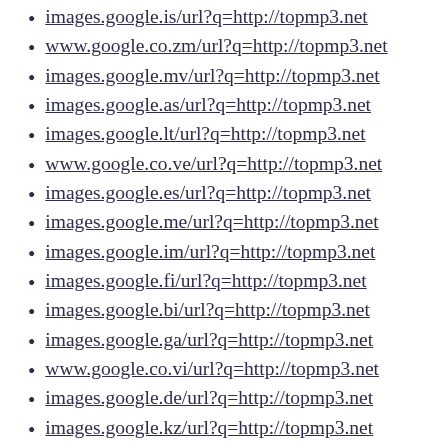images.google.is/url?q=http://topmp3.net
www.google.co.zm/url?q=http://topmp3.net
images.google.mv/url?q=http://topmp3.net
images.google.as/url?q=http://topmp3.net
images.google.lt/url?q=http://topmp3.net
www.google.co.ve/url?q=http://topmp3.net
images.google.es/url?q=http://topmp3.net
images.google.me/url?q=http://topmp3.net
images.google.im/url?q=http://topmp3.net
images.google.fi/url?q=http://topmp3.net
images.google.bi/url?q=http://topmp3.net
images.google.ga/url?q=http://topmp3.net
www.google.co.vi/url?q=http://topmp3.net
images.google.de/url?q=http://topmp3.net
images.google.kz/url?q=http://topmp3.net
images.google.mg/url?q=http://topmp3.net
images.google.cc/url?q=http://topmp3.net
images.google.rw/url?q=http://topmp3.net
images.google.tg/url?q=http://topmp3.net